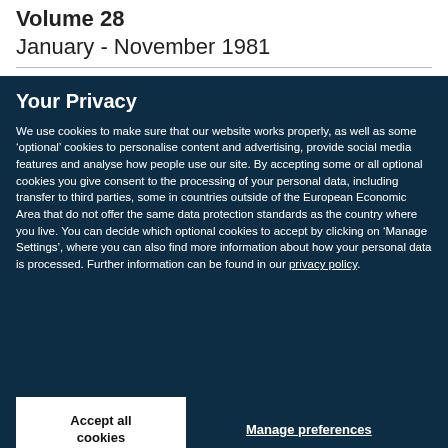Volume 28
January - November 1981
Your Privacy
We use cookies to make sure that our website works properly, as well as some ‘optional’ cookies to personalise content and advertising, provide social media features and analyse how people use our site. By accepting some or all optional cookies you give consent to the processing of your personal data, including transfer to third parties, some in countries outside of the European Economic Area that do not offer the same data protection standards as the country where you live. You can decide which optional cookies to accept by clicking on ‘Manage Settings’, where you can also find more information about how your personal data is processed. Further information can be found in our privacy policy.
Accept all cookies
Manage preferences